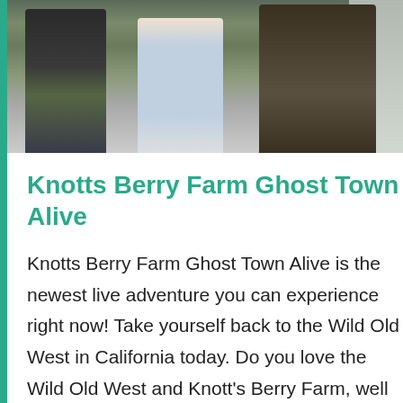[Figure (photo): Outdoor photo showing people in western/casual attire, one person in camouflage pants, another in a blue outfit, and a person in a brown vest holding something, with a fence or enclosure in the background.]
Knotts Berry Farm Ghost Town Alive
Knotts Berry Farm Ghost Town Alive is the newest live adventure you can experience right now! Take yourself back to the Wild Old West in California today. Do you love the Wild Old West and Knott's Berry Farm, well then this new